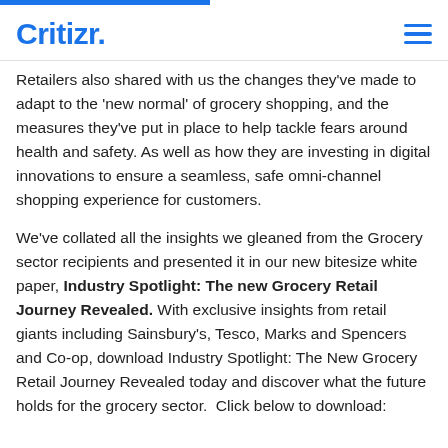Critizr.
Retailers also shared with us the changes they've made to adapt to the 'new normal' of grocery shopping, and the measures they've put in place to help tackle fears around health and safety. As well as how they are investing in digital innovations to ensure a seamless, safe omni-channel shopping experience for customers.
We've collated all the insights we gleaned from the Grocery sector recipients and presented it in our new bitesize white paper, Industry Spotlight: The new Grocery Retail Journey Revealed. With exclusive insights from retail giants including Sainsbury's, Tesco, Marks and Spencers and Co-op, download Industry Spotlight: The New Grocery Retail Journey Revealed today and discover what the future holds for the grocery sector.  Click below to download: